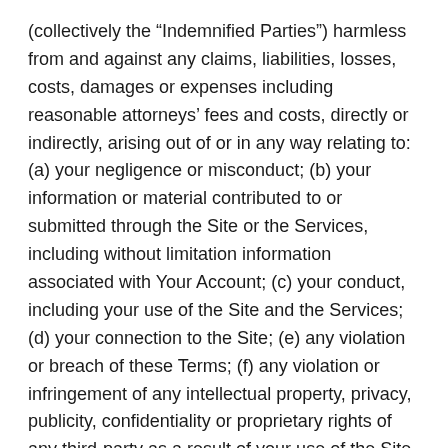(collectively the “Indemnified Parties”) harmless from and against any claims, liabilities, losses, costs, damages or expenses including reasonable attorneys’ fees and costs, directly or indirectly, arising out of or in any way relating to: (a) your negligence or misconduct; (b) your information or material contributed to or submitted through the Site or the Services, including without limitation information associated with Your Account; (c) your conduct, including your use of the Site and the Services; (d) your connection to the Site; (e) any violation or breach of these Terms; (f) any violation or infringement of any intellectual property, privacy, publicity, confidentiality or proprietary rights of any third-party as a result of your use of the Site or Services; (g) your use of the electronic signature lease execution functionality of RENTCafé, including without limitation, the sufficiency of an electronic signature or the enforceability